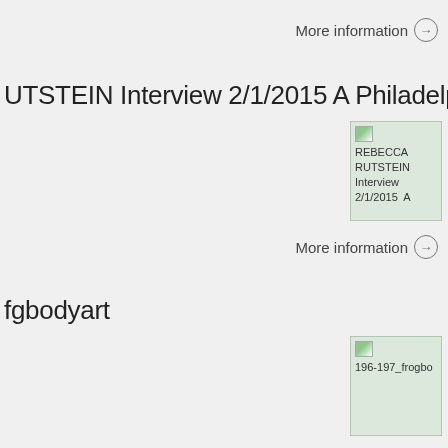More information →
RUTSTEIN Interview 2/1/2015 A Philadelphia
[Figure (photo): Thumbnail image placeholder for REBECCA RUTSTEIN Interview 2/1/2015 A]
More information →
fgbodyart
[Figure (photo): Thumbnail image placeholder for 196-197_frogbodyart]
More information →